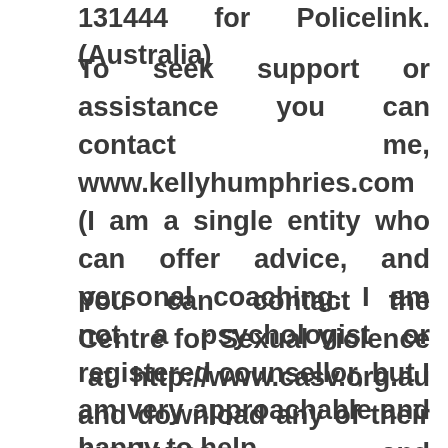131444 for Policelink. (Australia)
To seek support or assistance you can contact me, www.kellyhumphries.com (I am a single entity who can offer advice, and personal coaching. I am not a psychologist or registered counsellor, but I am very approachable and happy to help.
You can contact the Centre for Sexual Violence at http://www.casv.org.au and download any of their brochures and information, and likewise